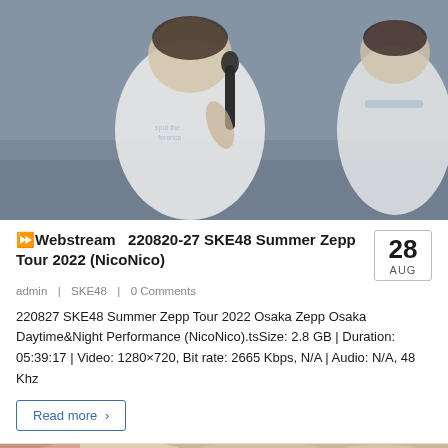[Figure (photo): Screenshot of a concert/event. Two performers wearing white t-shirts on a stage with a grey-blue background. The left performer holds a microphone.]
⏩Webstream  220820-27 SKE48 Summer Zepp Tour 2022 (NicoNico)
admin | SKE48 | 0 Comments
220827 SKE48 Summer Zepp Tour 2022 Osaka Zepp Osaka Daytime&Night Performance (NicoNico).tsSize: 2.8 GB | Duration: 05:39:17 | Video: 1280×720, Bit rate: 2665 Kbps, N/A | Audio: N/A, 48 Khz
Read more ❯
[Figure (photo): Bottom partial photo showing what appears to be a person or performance scene in warm tones.]